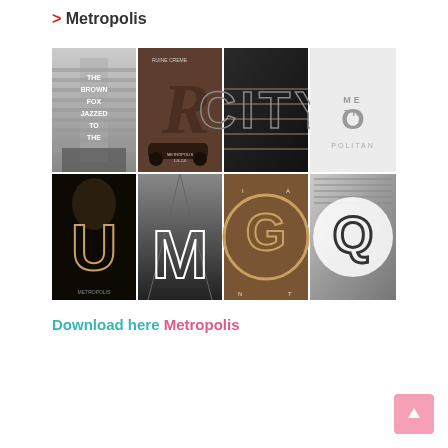> Metropolis
[Figure (illustration): A 2x4 grid of 8 art/typography posters with a Metropolis theme. Top row: 1) Black and white city/skyscraper poster with text 'THE BROWN FOX JAZZED TO THE'; 2) Brown toned poster with stylized R letterform and vintage car, text 'RUINE COMME METROPOLIS 1-9-2-6'; 3) Dark poster with 'CITY' in large geometric letters; 4) Light/silver poster with 'METROPOLITAN' in thin stylized letters. Bottom row: 5) Dark moody portrait with large 'U' neon letter, text 'UNI CITY METROPOLIS'; 6) Black and white city street with large 'M' letterform; 7) Bronze/brown circular 'G' letterform with building inside, letters 'I A N T' around it; 8) Black and white aerial city view with large outlined 'Q' letter.]
Download here Metropolis